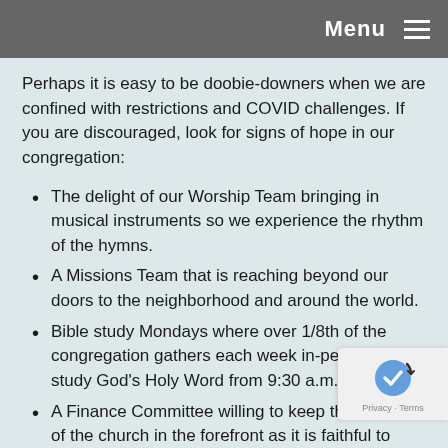Menu
Perhaps it is easy to be doobie-downers when we are confined with restrictions and COVID challenges. If you are discouraged, look for signs of hope in our congregation:
The delight of our Worship Team bringing in musical instruments so we experience the rhythm of the hymns.
A Missions Team that is reaching beyond our doors to the neighborhood and around the world.
Bible study Mondays where over 1/8th of the congregation gathers each week in-person to study God's Holy Word from 9:30 a.m. to 8 p.m.
A Finance Committee willing to keep the mission of the church in the forefront as it is faithful to fiscal stewardship. Yes, there will be some belt-tightening ... and watch for pledge cards this year!
A Pastoral Care Team that shares the tender love through visits, cards, phone calls, and the offer of a